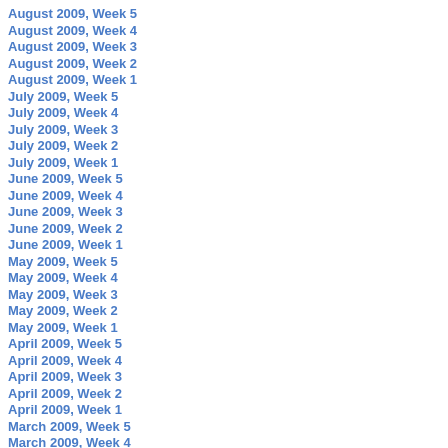August 2009, Week 5
August 2009, Week 4
August 2009, Week 3
August 2009, Week 2
August 2009, Week 1
July 2009, Week 5
July 2009, Week 4
July 2009, Week 3
July 2009, Week 2
July 2009, Week 1
June 2009, Week 5
June 2009, Week 4
June 2009, Week 3
June 2009, Week 2
June 2009, Week 1
May 2009, Week 5
May 2009, Week 4
May 2009, Week 3
May 2009, Week 2
May 2009, Week 1
April 2009, Week 5
April 2009, Week 4
April 2009, Week 3
April 2009, Week 2
April 2009, Week 1
March 2009, Week 5
March 2009, Week 4
March 2009, Week 3
March 2009, Week 2
March 2009, Week 1